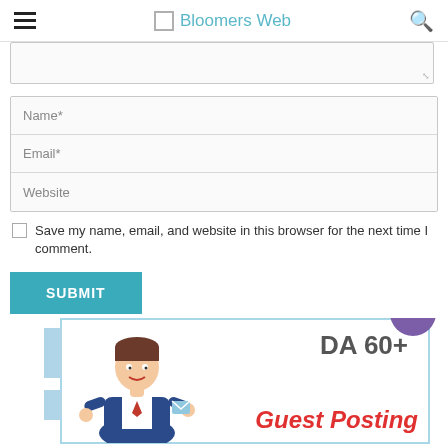Bloomers Web
[Figure (screenshot): Textarea input stub at top of comment form]
[Figure (screenshot): Comment form with Name*, Email*, Website fields and Save my name checkbox, Submit button]
[Figure (infographic): DA 60+ Guest Posting promotional banner with character illustration]